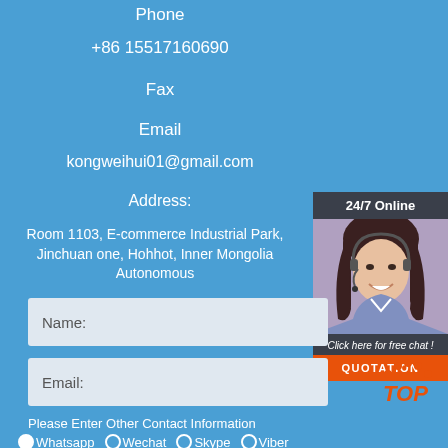Phone
+86 15517160690
Fax
Email
kongweihui01@gmail.com
Address:
Room 1103, E-commerce Industrial Park, Jinchuan one, Hohhot, Inner Mongolia Autonomous
[Figure (photo): 24/7 Online chat widget with woman wearing headset, 'Click here for free chat!' text, and QUOTATION button]
Name:
Email:
Please Enter Other Contact Information
Whatsapp  Wechat  Skype  Viber
Contact information Whatsapp